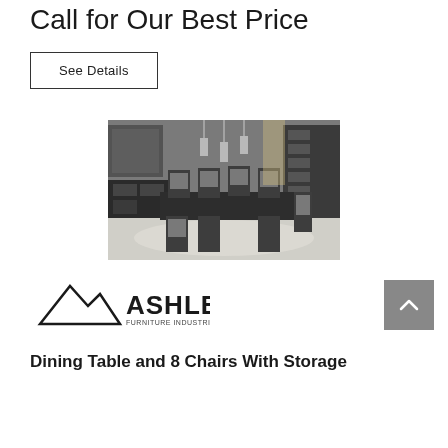Call for Our Best Price
See Details
[Figure (photo): Dining room set with dark wood table and 8 chairs with upholstered backs, bookshelf and sideboard in background, modern elegant setting]
[Figure (logo): Ashley Furniture Industries, LLC logo with mountain/triangle graphic]
Dining Table and 8 Chairs With Storage